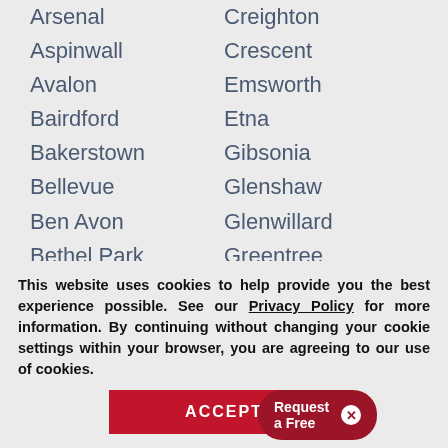Arsenal | Creighton
Aspinwall | Crescent
Avalon | Emsworth
Bairdford | Etna
Bakerstown | Gibsonia
Bellevue | Glenshaw
Ben Avon | Glenwillard
Bethel Park | Greentree
Blawnox | Harwick
Bloomfield | Heidelberg
Brackenridge | India[n...]
[Figure (other): Request a Free [popup button with close X]]
This website uses cookies to help provide you the best experience possible. See our Privacy Policy for more information. By continuing without changing your cookie settings within your browser, you are agreeing to our use of cookies.
ACCEPT